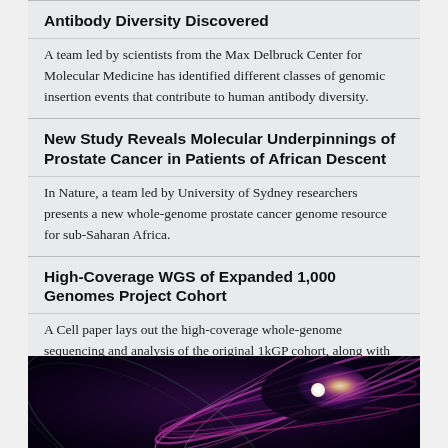Antibody Diversity Discovered
A team led by scientists from the Max Delbruck Center for Molecular Medicine has identified different classes of genomic insertion events that contribute to human antibody diversity.
New Study Reveals Molecular Underpinnings of Prostate Cancer in Patients of African Descent
In Nature, a team led by University of Sydney researchers presents a new whole-genome prostate cancer genome resource for sub-Saharan Africa.
High-Coverage WGS of Expanded 1,000 Genomes Project Cohort
A Cell paper lays out the high-coverage whole-genome sequencing and analysis of the original 1kGP cohort, along with additional samples that complete hundreds of complete trios.
[Figure (photo): Abstract colorful swirling light streaks in purple, pink, and red tones against a dark background, resembling an artistic visualization of genomic or cosmic data.]